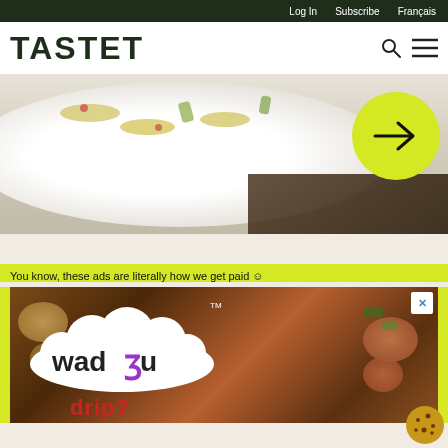Log In  Subscribe  Français
TASTET
[Figure (photo): Food photo showing a white plate with gnocchi or dumplings garnished with herbs and spices, with a yellow circle containing a right-arrow overlaid on the right side]
You know, these ads are literally how we get paid ☺
[Figure (photo): Advertisement for 'wadju' brand showing seafood dish (shrimp, clams) with the wadju cloud-shaped logo in white with purple letter, TM mark, and a close X button in top right corner]